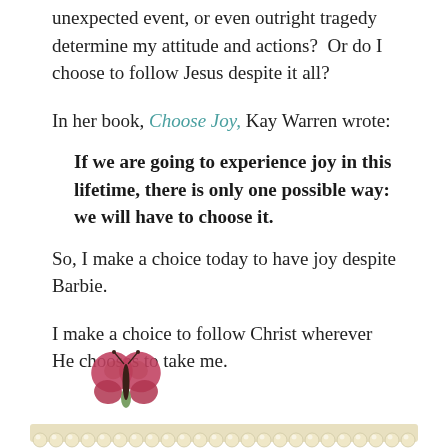unexpected event, or even outright tragedy determine my attitude and actions?  Or do I choose to follow Jesus despite it all?
In her book, Choose Joy, Kay Warren wrote:
If we are going to experience joy in this lifetime, there is only one possible way: we will have to choose it.
So, I make a choice today to have joy despite Barbie.
I make a choice to follow Christ wherever He chooses to take me.
[Figure (illustration): Decorative footer with a pink/red butterfly on the left and a pearl lace border strip across the bottom of the page.]